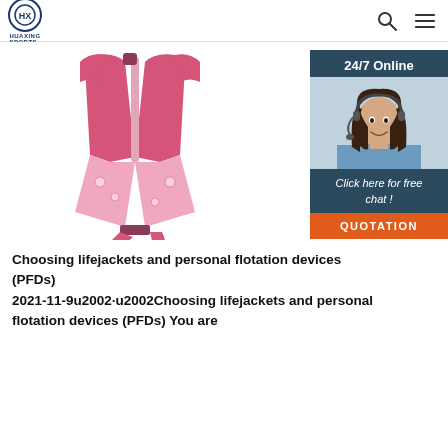HUAXING SPORTS
[Figure (photo): Pink children's swim vest/life jacket with zipper and decorative cartoon prints, with straps at the bottom]
[Figure (photo): 24/7 Online customer service widget showing a female agent with headset, with 'Click here for free chat!' text and an orange QUOTATION button]
[Figure (infographic): Orange TOP badge/icon in the bottom right area]
Choosing lifejackets and personal flotation devices (PFDs) 2021-11-9u2002·u2002Choosing lifejackets and personal flotation devices (PFDs) You are